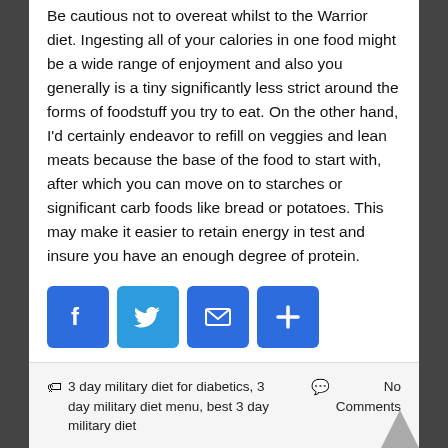Be cautious not to overeat whilst to the Warrior diet. Ingesting all of your calories in one food might be a wide range of enjoyment and also you generally is a tiny significantly less strict around the forms of foodstuff you try to eat. On the other hand, I'd certainly endeavor to refill on veggies and lean meats because the base of the food to start with, after which you can move on to starches or significant carb foods like bread or potatoes. This may make it easier to retain energy in test and insure you have an enough degree of protein.
[Figure (infographic): Four social sharing buttons: Facebook (blue, F icon), Twitter (light blue, bird icon), Email (blue, envelope icon), Share (blue, plus icon)]
3 day military diet for diabetics, 3 day military diet menu, best 3 day military diet   No Comments